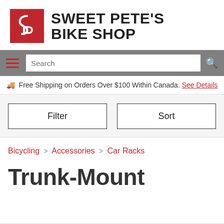[Figure (logo): Sweet Pete's Bike Shop logo with red square containing a stylized S/P icon and bold black text reading SWEET PETE'S BIKE SHOP]
Search
🚚 Free Shipping on Orders Over $100 Within Canada. See Details
Filter
Sort
Bicycling > Accessories > Car Racks
Trunk-Mount